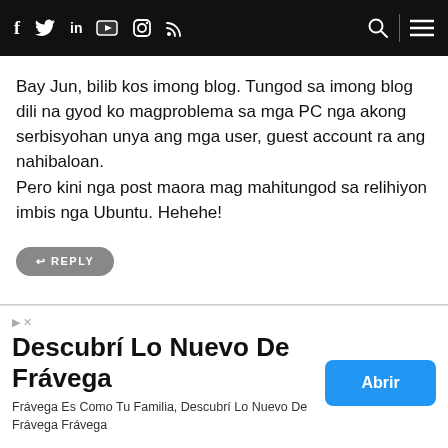Social media navigation bar with icons: Facebook, Twitter, LinkedIn, YouTube, Instagram, RSS feed; search and menu icons on right
Bay Jun, bilib kos imong blog. Tungod sa imong blog dili na gyod ko magproblema sa mga PC nga akong serbisyohan unya ang mga user, guest account ra ang nahibaloan.
Pero kini nga post maora mag mahitungod sa relihiyon imbis nga Ubuntu. Hehehe!
REPLY
Anonymous
Descubrí Lo Nuevo De Frávega
Frávega Es Como Tu Familia, Descubrí Lo Nuevo De Frávega Frávega
Abrir